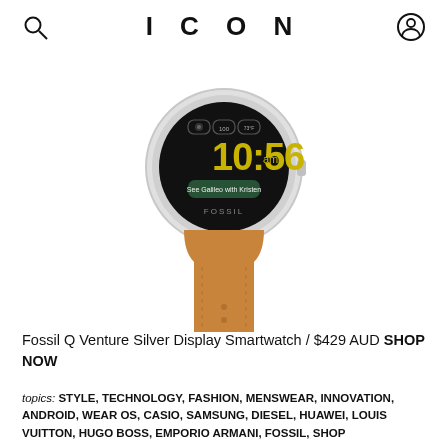ICON
[Figure (photo): Fossil Q Venture smartwatch with silver round case, black digital display showing 10:56 am, and tan brown leather strap.]
Fossil Q Venture Silver Display Smartwatch / $429 AUD SHOP NOW
topics: STYLE, TECHNOLOGY, FASHION, MENSWEAR, INNOVATION, ANDROID, WEAR OS, CASIO, SAMSUNG, DIESEL, HUAWEI, LOUIS VUITTON, HUGO BOSS, EMPORIO ARMANI, FOSSIL, SHOP